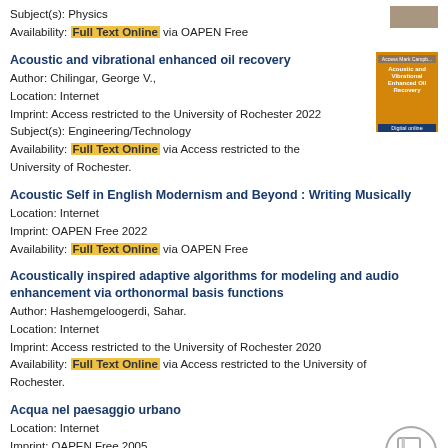Subject(s): Physics
Availability: Full Text Online via OAPEN Free
Acoustic and vibrational enhanced oil recovery
Author: Chilingar, George V.,
Location: Internet
Imprint: Access restricted to the University of Rochester 2022
Subject(s): Engineering/Technology
Availability: Full Text Online via Access restricted to the University of Rochester.
Acoustic Self in English Modernism and Beyond : Writing Musically
Location: Internet
Imprint: OAPEN Free 2022
Availability: Full Text Online via OAPEN Free
Acoustically inspired adaptive algorithms for modeling and audio enhancement via orthonormal basis functions
Author: Hashemgeloogerdi, Sahar.
Location: Internet
Imprint: Access restricted to the University of Rochester 2020
Availability: Full Text Online via Access restricted to the University of Rochester.
Acqua nel paesaggio urbano
Location: Internet
Imprint: OAPEN Free 2005
Availability: Full Text Online via OAPEN Free